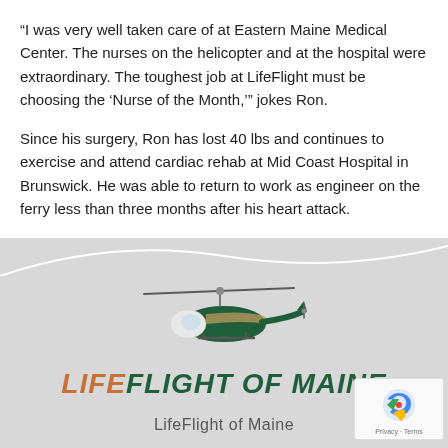“I was very well taken care of at Eastern Maine Medical Center. The nurses on the helicopter and at the hospital were extraordinary. The toughest job at LifeFlight must be choosing the ‘Nurse of the Month,’” jokes Ron.
Since his surgery, Ron has lost 40 lbs and continues to exercise and attend cardiac rehab at Mid Coast Hospital in Brunswick. He was able to return to work as engineer on the ferry less than three months after his heart attack.
[Figure (logo): LifeFlight of Maine logo with helicopter illustration above the text LIFEFLIGHT OF MAINE in italic bold font, LIFE in orange/brown and FLIGHT OF MAINE in dark green]
LifeFlight of Maine